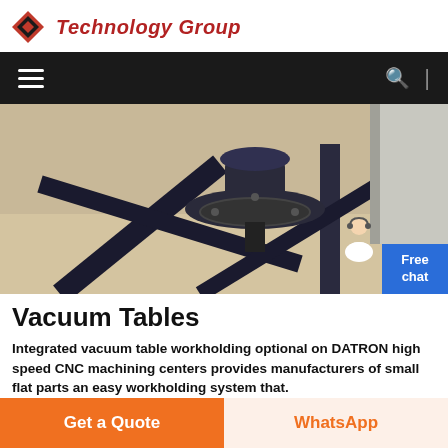Technology Group
[Figure (screenshot): Navigation bar with hamburger menu icon on left, search icon and vertical divider on right, dark background]
[Figure (photo): CNC machining center vacuum table with black metal frame structure and central spindle/rotary component visible from below, industrial workshop setting]
Vacuum Tables
Integrated vacuum table workholding optional on DATRON high speed CNC machining centers provides manufacturers of small flat parts an easy workholding system that.
Get a Quote   WhatsApp